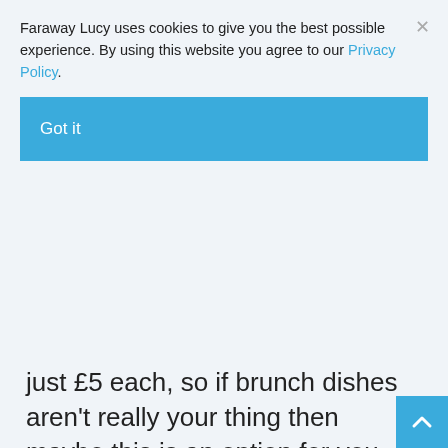Faraway Lucy uses cookies to give you the best possible experience. By using this website you agree to our Privacy Policy.
Got it
just £5 each, so if brunch dishes aren't really your thing then maybe this is an option for you.
Slug & Lettuce is immensely popular across the country for good reason.
And a large part of that reason is that it's always got a buzzing atmosphere and tunes playing for you to sing along to.